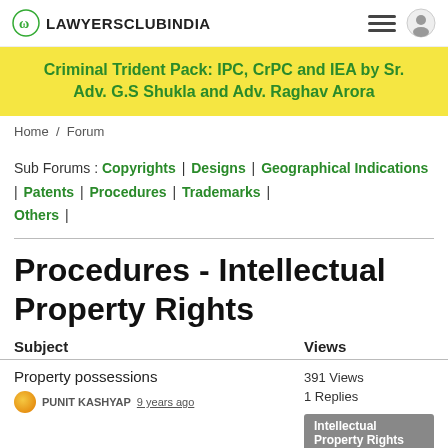LAWYERSCLUBINDIA
[Figure (other): Yellow promotional banner for Criminal Trident Pack: IPC, CrPC and IEA by Sr. Adv. G.S Shukla and Adv. Raghav Arora]
Home / Forum
Sub Forums : Copyrights | Designs | Geographical Indications | Patents | Procedures | Trademarks | Others |
Procedures - Intellectual Property Rights
| Subject | Views |
| --- | --- |
| Property possessions | 391 Views
1 Replies |